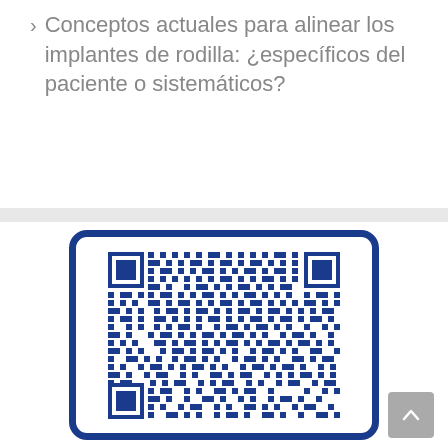Conceptos actuales para alinear los implantes de rodilla: ¿específicos del paciente o sistemáticos?
[Figure (other): QR code inside a blue rounded-rectangle card frame, linking to an article about current concepts for aligning knee implants]